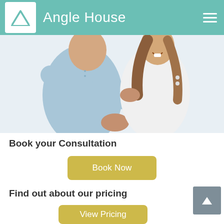Angle House
[Figure (photo): A couple smiling and embracing; man in light blue shirt, woman in white top with long brown hair, white background]
Book your Consultation
Book Now
Find out about our pricing
View Pricing